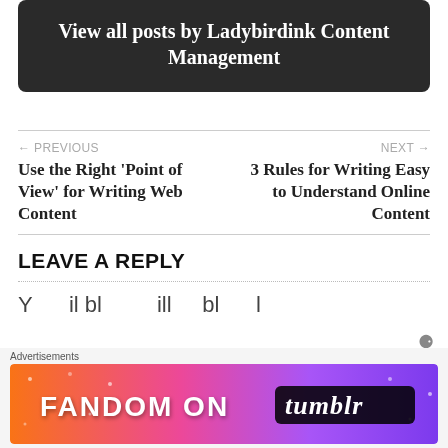View all posts by Ladybirdink Content Management
← PREVIOUS
Use the Right 'Point of View' for Writing Web Content
NEXT →
3 Rules for Writing Easy to Understand Online Content
LEAVE A REPLY
Y... ...il bl... ...ill ...l... ...bl... ...l
Advertisements
[Figure (other): Fandom on Tumblr advertisement banner with colorful gradient background from orange to purple with white decorative icons and text reading FANDOM ON tumblr]